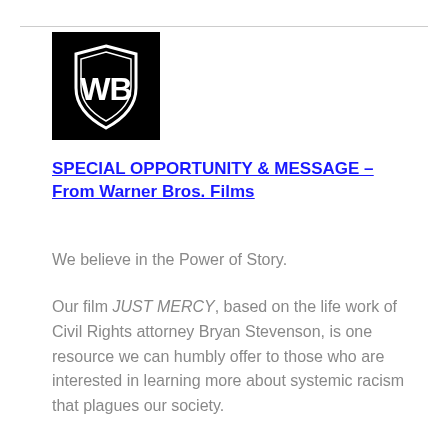[Figure (logo): Warner Bros. shield logo — white WB letters inside a shield outline on a black square background]
SPECIAL OPPORTUNITY & MESSAGE – From Warner Bros. Films
We believe in the Power of Story.
Our film JUST MERCY, based on the life work of Civil Rights attorney Bryan Stevenson, is one resource we can humbly offer to those who are interested in learning more about systemic racism that plagues our society.